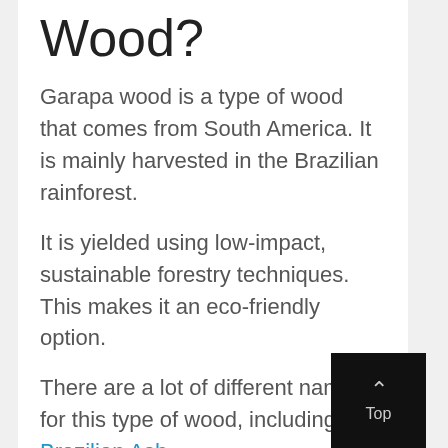Wood?
Garapa wood is a type of wood that comes from South America. It is mainly harvested in the Brazilian rainforest.
It is yielded using low-impact, sustainable forestry techniques. This makes it an eco-friendly option.
There are a lot of different names for this type of wood, including Brazilian Ash.
Garapa wood is closely related to ipe wood, but it tends to be lighter in color and has less variation in grain